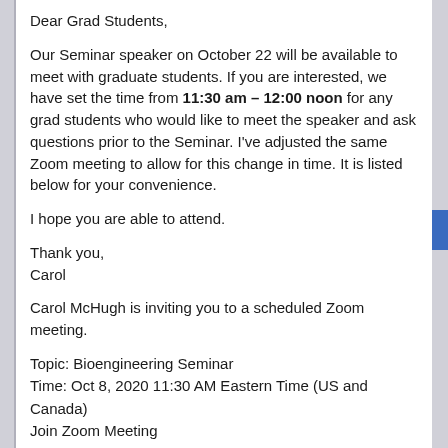Dear Grad Students,
Our Seminar speaker on October 22 will be available to meet with graduate students.  If you are interested, we have set the time from 11:30 am – 12:00 noon for any grad students who would like to meet the speaker and ask questions prior to the Seminar.  I've adjusted the same Zoom meeting to allow for this change in time. It is listed below for your convenience.
I hope you are able to attend.
Thank you,
Carol
Carol McHugh is inviting you to a scheduled Zoom meeting.
Topic: Bioengineering Seminar
Time: Oct 8, 2020 11:30 AM Eastern Time (US and Canada)
Join Zoom Meeting
https://gmu.zoom.us/j/92554249038?pwd=V2p1ZUdqM1Y2RnBCcWhDU0V0T2FZZz09

Meeting ID: 925 5424 9038
Passcode: 640851
One tap mobile